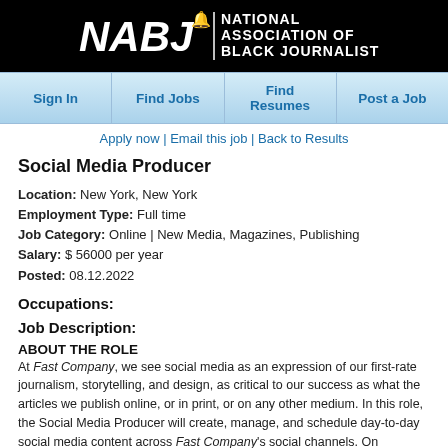[Figure (logo): NABJ National Association of Black Journalists logo — white text and icon on black background]
Sign In | Find Jobs | Find Resumes | Post a Job
Apply now | Email this job | Back to Results
Social Media Producer
Location: New York, New York
Employment Type: Full time
Job Category: Online | New Media, Magazines, Publishing
Salary: $ 56000 per year
Posted: 08.12.2022
Occupations:
Job Description:
ABOUT THE ROLE
At Fast Company, we see social media as an expression of our first-rate journalism, storytelling, and design, as critical to our success as what the articles we publish online, or in print, or on any other medium. In this role, the Social Media Producer will create, manage, and schedule day-to-day social media content across Fast Company's social channels. On Facebook, LinkedIn, and Twitter the goal will be to engage and